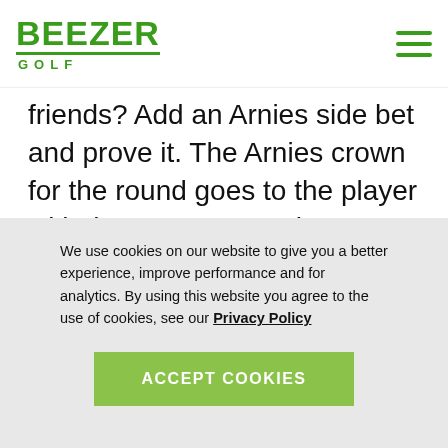BEEZER GOLF
friends? Add an Arnies side bet and prove it. The Arnies crown for the round goes to the player with the most pars or better without driving the fairway. Learn more about Arnies
We use cookies on our website to give you a better experience, improve performance and for analytics. By using this website you agree to the use of cookies, see our Privacy Policy
ACCEPT COOKIES